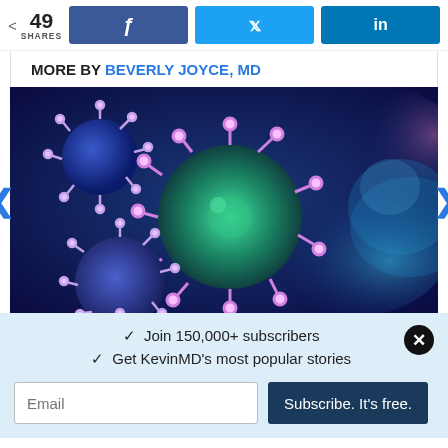< 49 SHARES
[Figure (other): Facebook share button (blue, f icon)]
[Figure (other): Twitter share button (blue, bird icon)]
[Figure (other): LinkedIn share button (blue, in icon)]
MORE BY BEVERLY JOYCE, MD
[Figure (photo): 3D illustration of coronavirus/COVID-19 particles on dark blue background with purple spike proteins]
✓  Join 150,000+ subscribers
✓  Get KevinMD's most popular stories
Email | Subscribe. It's free.